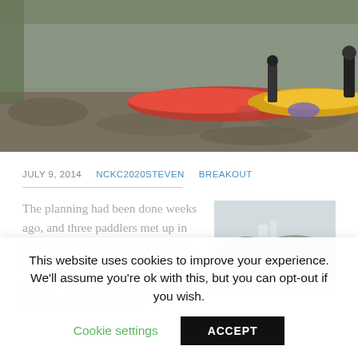[Figure (photo): People with kayaks on a rocky shore, with red and yellow kayaks visible]
JULY 9, 2014   NCKC2020STEVEN   BREAKOUT
The planning had been done weeks ago, and three paddlers met up in the campsite at St David's – Scott, Chris and Alan. The plan was simple – tomorrow we would set off at 8am to catch the slack
[Figure (photo): Coastal landscape with rocky cliffs and water]
This website uses cookies to improve your experience. We'll assume you're ok with this, but you can opt-out if you wish.
Cookie settings   ACCEPT